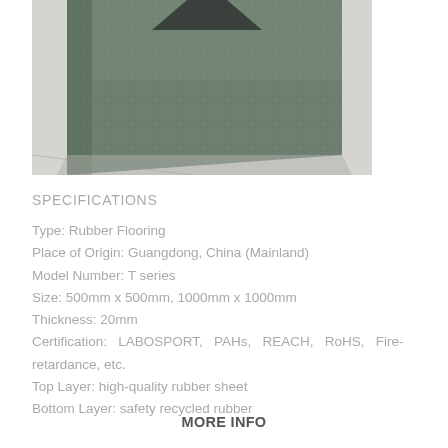[Figure (photo): Close-up photo of a green/teal rubber flooring tile with textured grainy surface, shown at an angle against a light grey background.]
SPECIFICATIONS
Type: Rubber Flooring
Place of Origin: Guangdong, China (Mainland)
Model Number: T series
Size: 500mm x 500mm, 1000mm x 1000mm
Thickness: 20mm
Certification: LABOSPORT, PAHs, REACH, RoHS, Fire-retardance, etc.
Top Layer: high-quality rubber sheet
Bottom Layer: safety recycled rubber
MORE INFO